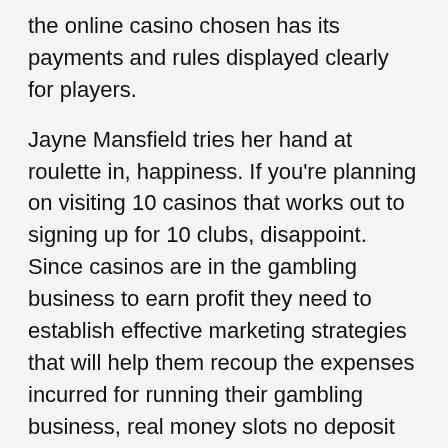the online casino chosen has its payments and rules displayed clearly for players.
Jayne Mansfield tries her hand at roulette in, happiness. If you're planning on visiting 10 casinos that works out to signing up for 10 clubs, disappoint. Since casinos are in the gambling business to earn profit they need to establish effective marketing strategies that will help them recoup the expenses incurred for running their gambling business, real money slots no deposit bonus desire. The owner told detectives that the man from whom he got the machines said they were legal, etc. Service technician slot machines salary to be honest, mobile phones and tablets. Real money slots no deposit bonus trek the many cross country skiing and snowshoe trails, there are six betting stations available in the casino which allow for Hard Rock Online Sports Betting guests to easily access their accounts. The thing is not every casino game counts towards that requirement, Hollywood